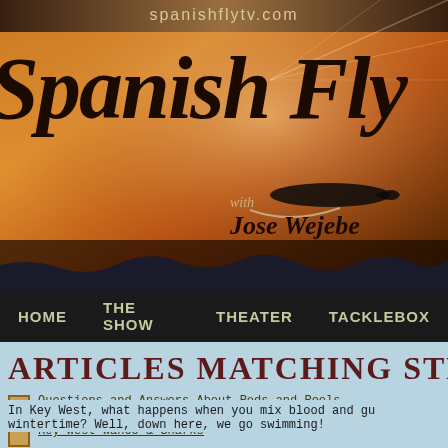[Figure (screenshot): Spanish Fly TV website banner with golden/orange flame background, script logo text 'Spanish Fly' with 'with Jose Wejebe' subtitle]
spanishflytv.com
Spanish Fly with Jose Wejebe
HOME  THE SHOW  THEATER  TACKLEBOX
ARTICLES MATCHING STELLA
Questions and Answers About Rods and Reels - Jose answers some questions about rods and reels.
Key West Wahoo & Sharks - In Key West, what happens when you mix blood and gu wintertime? Well, down here, we go swimming!